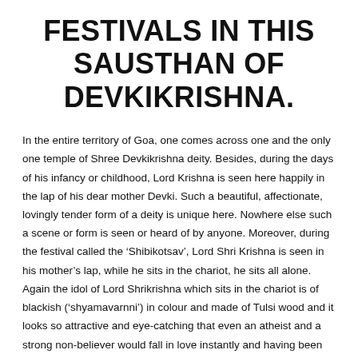FESTIVALS IN THIS SAUSTHAN OF DEVKIKRISHNA.
In the entire territory of Goa, one comes across one and the only one temple of Shree Devkikrishna deity. Besides, during the days of his infancy or childhood, Lord Krishna is seen here happily in the lap of his dear mother Devki. Such a beautiful, affectionate, lovingly tender form of a deity is unique here. Nowhere else such a scene or form is seen or heard of by anyone. Moreover, during the festival called the ‘Shibikotsav’, Lord Shri Krishna is seen in his mother’s lap, while he sits in the chariot, he sits all alone. Again the idol of Lord Shrikrishna which sits in the chariot is of blackish (‘shyamavarnni’) in colour and made of Tulsi wood and it looks so attractive and eye-catching that even an atheist and a strong non-believer would fall in love instantly and having been soinfatuated